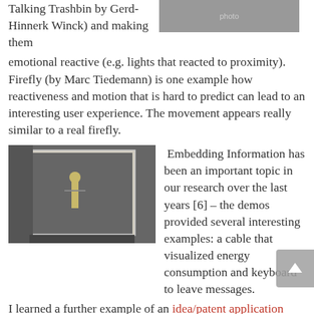Talking Trashbin by Gerd-Hinnerk Winck) and making them emotional reactive (e.g. lights that reacted to proximity). Firefly (by Marc Tiedemann) is one example how reactiveness and motion that is hard to predict can lead to an interesting user experience. The movement appears really similar to a real firefly.
[Figure (photo): Photo showing a setup with a table, light-colored panels/walls, and a person partially visible]
[Figure (photo): Photo of a small robotic figure or sculpture made of wooden/metallic parts standing in a box-like white enclosure, with a person visible in the background]
Embedding Information has been an important topic in our research over the last years [6] – the demos provided several interesting examples: a cable that visualized energy consumption and keyboard to leave messages. I learned a further example of an idea/patent application where information is included in the object – in this case in a tea bag. This is an extreme case but I